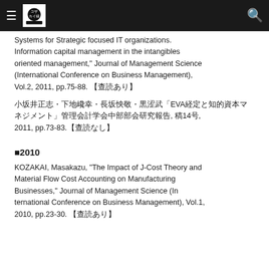≡ [logo] 🔍
Systems for Strate-gic focused IT organizations. Information capital management in the intangi-bles-oriented management," Journal of Management Science (International Conference on Business Management), Vol.2, 2011, pp.75-88. ［査読あり］
小坂井正志・下地弘幸・長坂悦敬・黒澤武「EVA経営と知的資本マネジメント」管理会計学会中部部会研究報告, 第14号, 2011, pp.73-83.［査読なし］
■2010
KOZAKAI, Masakazu, "The Impact of J-Cost Theory and Material Flow Cost Ac-counting on Manufacturing Businesses," Journal of Management Science (In-ternational Conference on Business Management), Vol.1, 2010, pp.23-30. ［査読あり］